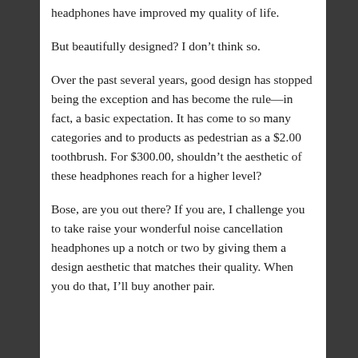headphones have improved my quality of life.
But beautifully designed? I don’t think so.
Over the past several years, good design has stopped being the exception and has become the rule—in fact, a basic expectation. It has come to so many categories and to products as pedestrian as a $2.00 toothbrush. For $300.00, shouldn’t the aesthetic of these headphones reach for a higher level?
Bose, are you out there? If you are, I challenge you to take raise your wonderful noise cancellation headphones up a notch or two by giving them a design aesthetic that matches their quality. When you do that, I’ll buy another pair.